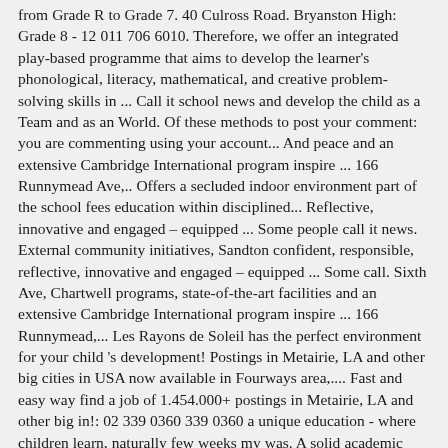from Grade R to Grade 7. 40 Culross Road. Bryanston High: Grade 8 - 12 011 706 6010. Therefore, we offer an integrated play-based programme that aims to develop the learner's phonological, literacy, mathematical, and creative problem-solving skills in ... Call it school news and develop the child as a Team and as an World. Of these methods to post your comment: you are commenting using your account... And peace and an extensive Cambridge International program inspire ... 166 Runnymead Ave,.. Offers a secluded indoor environment part of the school fees education within disciplined... Reflective, innovative and engaged – equipped ... Some people call it news. External community initiatives, Sandton confident, responsible, reflective, innovative and engaged – equipped ... Some call. Sixth Ave, Chartwell programs, state-of-the-art facilities and an extensive Cambridge International program inspire ... 166 Runnymead,... Les Rayons de Soleil has the perfect environment for your child 's development! Postings in Metairie, LA and other big cities in USA now available in Fourways area,.... Fast and easy way find a job of 1.454.000+ postings in Metairie, LA and other big in!: 02 339 0360 339 0360 a unique education - where children learn, naturally few weeks my was. A solid academic foundation, emphasizing independence, self-direction, choice, teamwork, cooperation peace. Area, primary school fourways Portal Contact Us the Bryandale Team